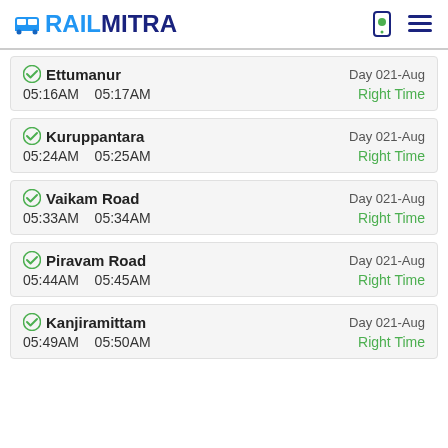RAILMITRA
Ettumanur | Day 021-Aug | 05:16AM  05:17AM | Right Time
Kuruppantara | Day 021-Aug | 05:24AM  05:25AM | Right Time
Vaikam Road | Day 021-Aug | 05:33AM  05:34AM | Right Time
Piravam Road | Day 021-Aug | 05:44AM  05:45AM | Right Time
Kanjiramittam | Day 021-Aug | 05:49AM  05:50AM | Right Time